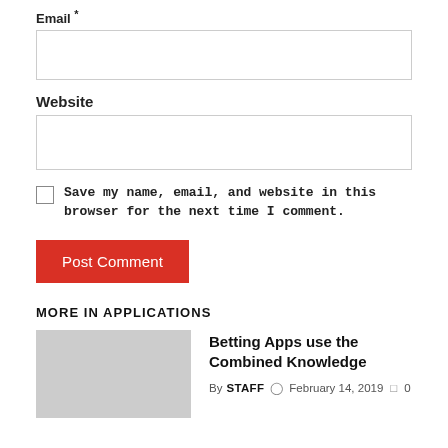Email *
[Figure (other): Text input box for Email field]
Website
[Figure (other): Text input box for Website field]
Save my name, email, and website in this browser for the next time I comment.
[Figure (other): Post Comment button (red background, white text)]
MORE IN APPLICATIONS
Betting Apps use the Combined Knowledge
By STAFF  February 14, 2019  0